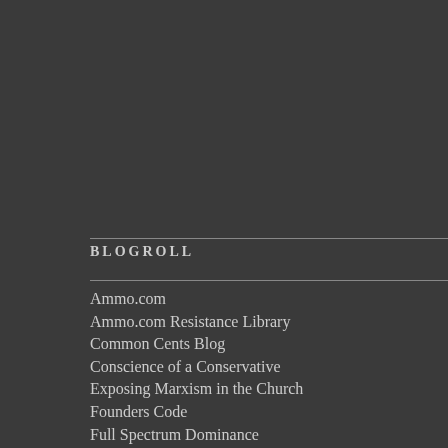293031
« Jul
BLOGROLL
Ammo.com
Ammo.com Resistance Library
Common Cents Blog
Conscience of a Conservative
Exposing Marxism in the Church
Founders Code
Full Spectrum Dominance
Gulag Bound
Larry Correia
Matt Bracken
Michelle Obama's Mirror
Monster Hunter Nation
New Zeal